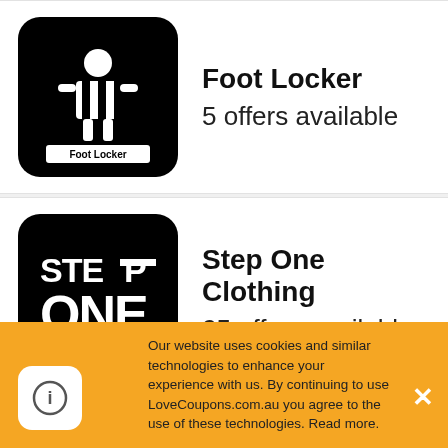Foot Locker — 5 offers available
Step One Clothing — 25 offers available
Nike — 5 offers available
Crsten (partially visible)
Our website uses cookies and similar technologies to enhance your experience with us. By continuing to use LoveCoupons.com.au you agree to the use of these technologies. Read more.